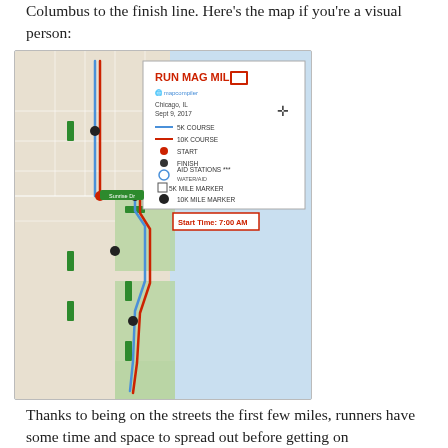Columbus to the finish line. Here's the map if you're a visual person:
[Figure (map): Race route map for Run Mag Mile in Chicago, IL, Sept 9, 2017. Shows course route (blue and red lines) along Lake Michigan shoreline and city streets. Legend includes: 5K course, 10K course, Start, Finish, Aid Stations, 5K mile marker, 10K mile marker. Start Time: 7:00 AM.]
Thanks to being on the streets the first few miles, runners have some time and space to spread out before getting on